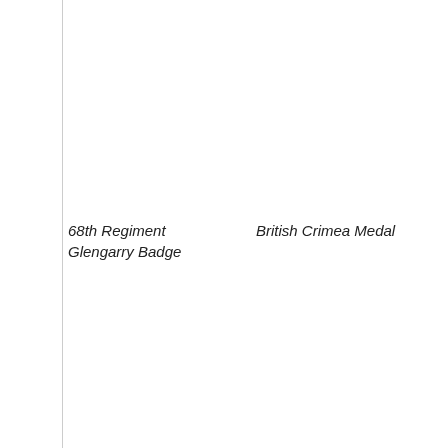68th Regiment Glengarry Badge    British Crimea Medal